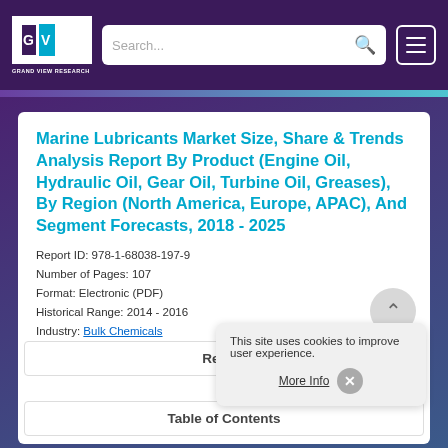Grand View Research | Search | Menu
Marine Lubricants Market Size, Share & Trends Analysis Report By Product (Engine Oil, Hydraulic Oil, Gear Oil, Turbine Oil, Greases), By Region (North America, Europe, APAC), And Segment Forecasts, 2018 - 2025
Report ID: 978-1-68038-197-9
Number of Pages: 107
Format: Electronic (PDF)
Historical Range: 2014 - 2016
Industry: Bulk Chemicals
Report
Table of Contents
This site uses cookies to improve user experience.